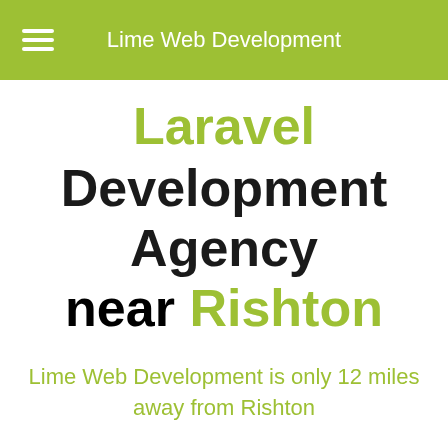Lime Web Development
Laravel Development Agency near Rishton
Lime Web Development is only 12 miles away from Rishton